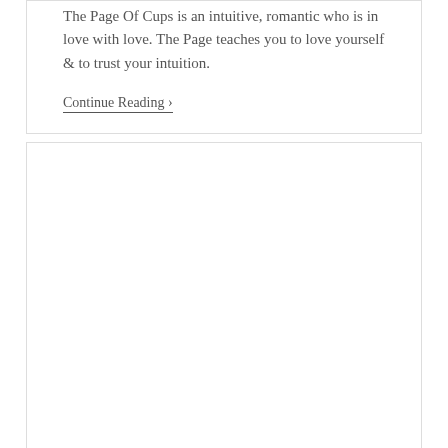The Page Of Cups is an intuitive, romantic who is in love with love. The Page teaches you to love yourself & to trust your intuition.
Continue Reading ›